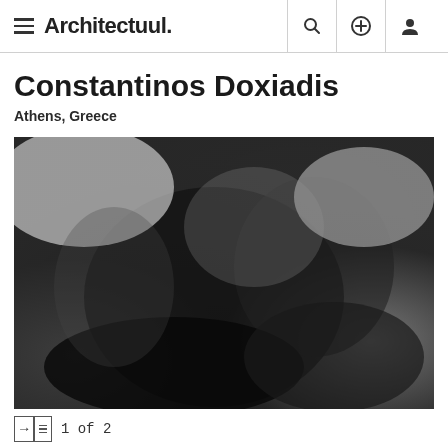Architectuul.
Constantinos Doxiadis
Athens, Greece
[Figure (photo): A blurred black and white photograph, likely showing a person or group of people, with dark and light gradient tones creating an abstract impression.]
1 of 2